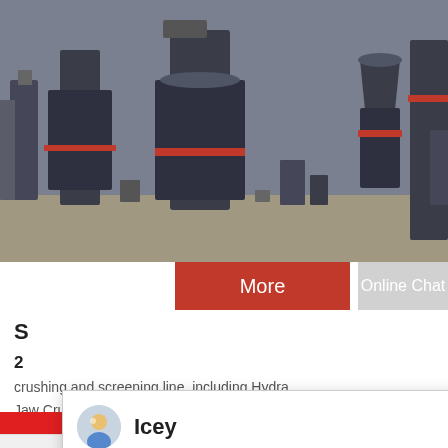[Figure (photo): Industrial heavy machinery in a factory setting showing multiple large dark metal crushing machines with red accents]
More
Online Chat
[Figure (screenshot): Live chat popup overlay with avatar of agent named 'Icey' and message: Welcome to Liming Heavy Industry! Now our on-line service is chatting with you! Please choose the language:]
crushing and screening line, including Hydra... Jaw Crusher, Impact Crusher, Vertical Shaft I... (Sand Making Machine), fixed and movable s...
[Figure (photo): Customer service representative (woman with headset) with blue notification badge showing number 1]
Need questions & suggestion?
Chat Now
Chat Online
Enquire